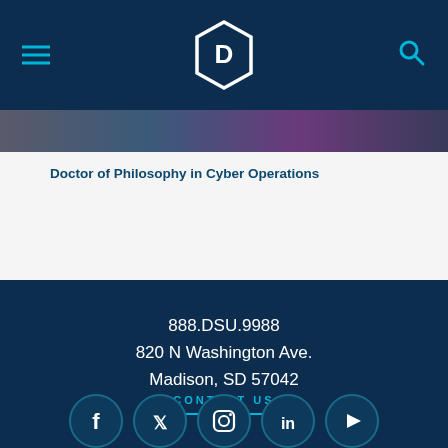DSU logo with menu and search icons
[Figure (photo): Partial photo of people, cropped at top of content area]
Doctor of Philosophy in Cyber Operations
888.DSU.9988
820 N Washington Ave.
Madison, SD 57042
CONTACT US
[Figure (illustration): Social media icons: Facebook, Twitter, Instagram, LinkedIn, YouTube in circular teal-bordered buttons]